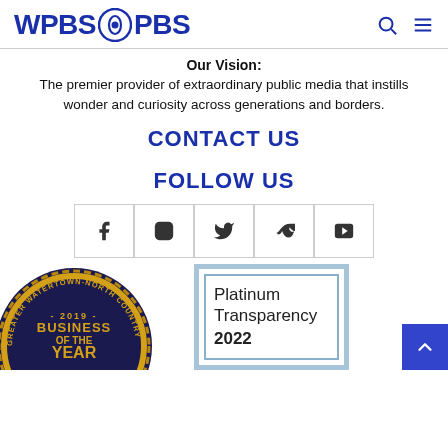[Figure (logo): WPBS PBS logo in blue with PBS circular eye icon]
Our Vision:
The premier provider of extraordinary public media that instills wonder and curiosity across generations and borders.
CONTACT US
FOLLOW US
[Figure (infographic): Social media icon buttons: Facebook, Instagram, Twitter, Vimeo, YouTube]
[Figure (photo): Greater Watertown-North Country 2019 Business of the Year award badge/seal]
[Figure (infographic): Platinum Transparency 2022 certificate/badge with blue border]